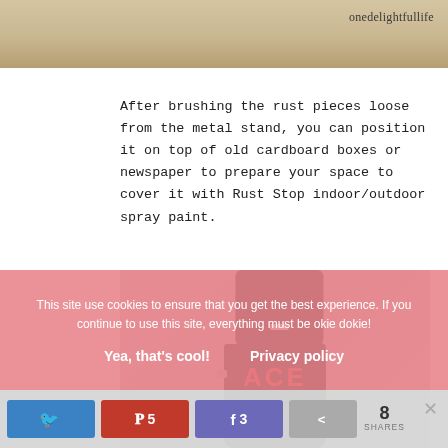[Figure (photo): Top portion of a wooden surface photo with brand watermark 'onedelightfullife' visible in upper right]
After brushing the rust pieces loose from the metal stand, you can position it on top of old cardboard boxes or newspaper to prepare your space to cover it with Rust Stop indoor/outdoor spray paint.
[Figure (photo): Close-up photo of a black ACE brand spray paint can (Rust Stop Indoor/Outdoor) with the top cap visible and the ACE logo in red on the black can body]
This site use cookies to ensure that you get the best experience. If you continue to use this site, everything must be okie dokie!
Yea, that's cool!
Privacy policy
5
3
8 SHARES